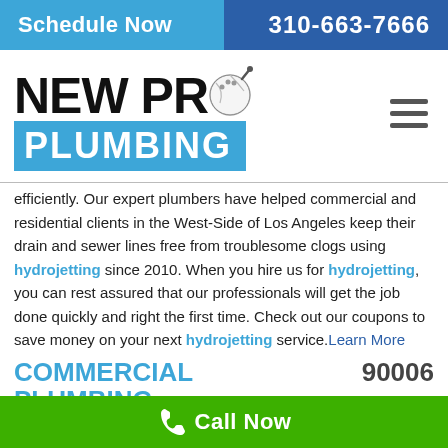Schedule Now   310-663-7666
[Figure (logo): New Pro Plumbing company logo with bowling ball replacing the O in PRO, and PLUMBING in white text on a blue rectangle]
efficiently. Our expert plumbers have helped commercial and residential clients in the West-Side of Los Angeles keep their drain and sewer lines free from troublesome clogs using hydrojetting since 2010.  When you hire us for hydrojetting, you can rest assured that our professionals will get the job done quickly and right the first time. Check out our coupons to save money on your next hydrojetting service. Learn More
COMMERCIAL PLUMBING 90006
Commercial plumbing systems are larger and more complex than
Call Now